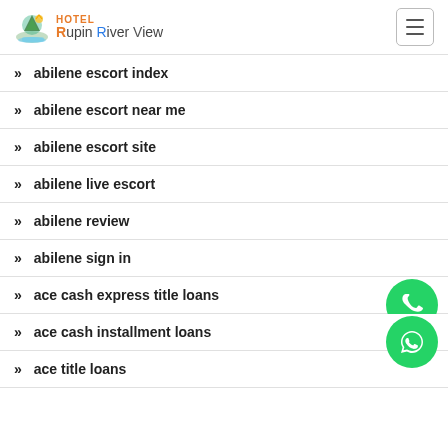HOTEL Rupin River View
abilene escort index
abilene escort near me
abilene escort site
abilene live escort
abilene review
abilene sign in
ace cash express title loans
ace cash installment loans
ace title loans